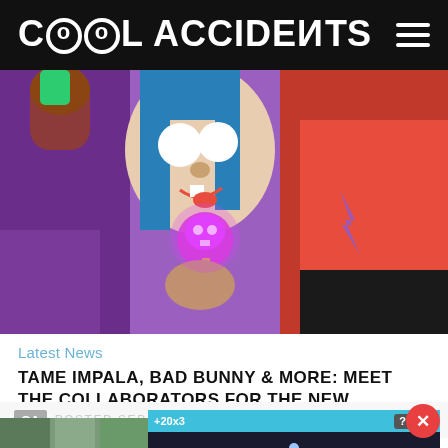Cool Accidents
[Figure (illustration): Gorillaz animated characters - blue-haired character licking a glowing pink skull popsicle, with another character in red shirt in background, purple/violet background]
Latest News
TAME IMPALA, BAD BUNNY & MORE: MEET THE COLLABORATORS FOR THE NEW GORILLAZ ALBUM, 'CRACKER ISLAND'
CA  POSTED SEP 09, 2022
[Figure (screenshot): Mobile game advertisement overlay showing 'Hold and Move' game with dark background, +20 and x3 indicators, person figure icon, help and close buttons]